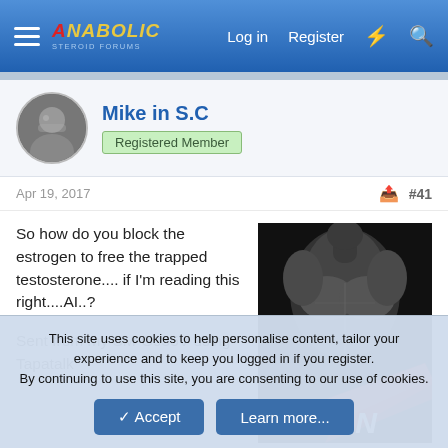Anabolic Steroid Forums — Log in  Register
[Figure (photo): User avatar: muscular person photo in circular crop]
Mike in S.C
Registered Member
Apr 19, 2017  #41
So how do you block the estrogen to free the trapped testosterone.... if I'm reading this right....AI..?

Sent from my SM-G935V using Tapatalk
[Figure (photo): Black and white muscular bodybuilder photo with red brush strokes and text ASK AN at bottom]
This site uses cookies to help personalise content, tailor your experience and to keep you logged in if you register.
By continuing to use this site, you are consenting to our use of cookies.
✓ Accept    Learn more...